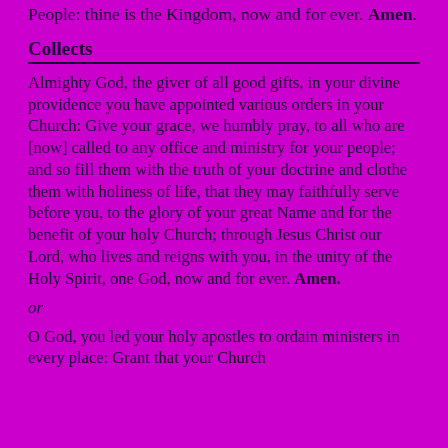People: thine is the Kingdom, now and for ever. Amen.
Collects
Almighty God, the giver of all good gifts, in your divine providence you have appointed various orders in your Church: Give your grace, we humbly pray, to all who are [now] called to any office and ministry for your people; and so fill them with the truth of your doctrine and clothe them with holiness of life, that they may faithfully serve before you, to the glory of your great Name and for the benefit of your holy Church; through Jesus Christ our Lord, who lives and reigns with you, in the unity of the Holy Spirit, one God, now and for ever. Amen.
or
O God, you led your holy apostles to ordain ministers in every place: Grant that your Church